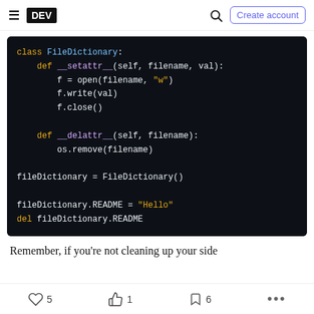≡ DEV  🔍  Create account
[Figure (screenshot): Dark-themed Python code block showing a FileDictionary class with __setattr__ and __delattr__ methods, plus usage examples]
Remember, if you're not cleaning up your side
♡ 5   🤘 1   🔖 6   ...